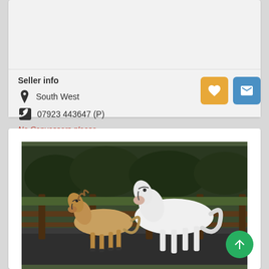Seller info
South West
07923 443647 (P)
No Canvassers please.
[Figure (photo): Two horses running in a paddock — a golden/palomino foal and a white horse with a halter. Dark tree line background, wooden fence rail.]